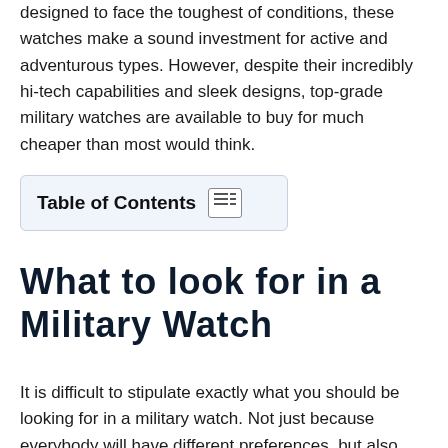designed to face the toughest of conditions, these watches make a sound investment for active and adventurous types. However, despite their incredibly hi-tech capabilities and sleek designs, top-grade military watches are available to buy for much cheaper than most would think.
What to look for in a Military Watch
It is difficult to stipulate exactly what you should be looking for in a military watch. Not just because everybody will have different preferences, but also because of the staggering number of incredible features that these watches